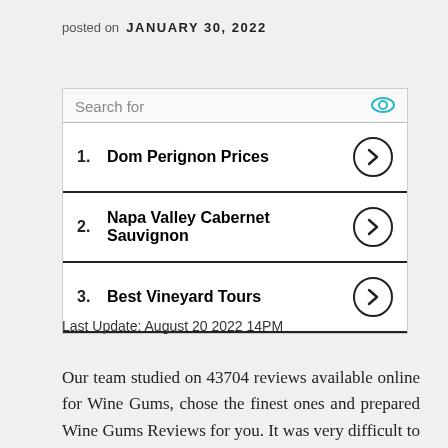posted on JANUARY 30, 2022
[Figure (other): Search widget with header 'Search for' and eye icon, listing 3 items: 1. Dom Perignon Prices, 2. Napa Valley Cabernet Sauvignon, 3. Best Vineyard Tours, each with a right-arrow circle button]
Last Update: August 20 2022 14PM
Our team studied on 43704 reviews available online for Wine Gums, chose the finest ones and prepared Wine Gums Reviews for you. It was very difficult to shortlist the ideal Wine Gums from thousands of products online. However, We tried to make sure that you get only